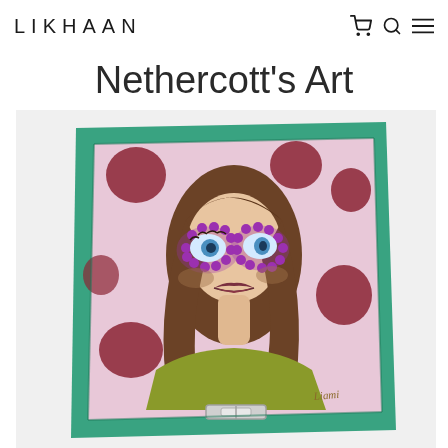LIKHAAN
Nethercott's Art
[Figure (photo): A silk scarf product photo showing an illustrated woman wearing decorative purple sunglasses, with brown hair and a yellow-green outfit, set against a pink background with dark red polka dots, framed by a teal/green border. The scarf appears to have a slight drape/fold effect.]